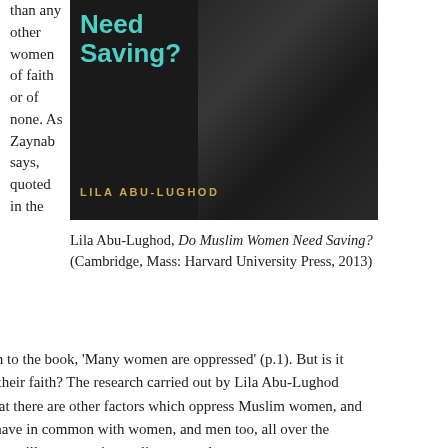than any other women of faith or of none. As Zaynab says, quoted in the
[Figure (photo): Book cover of 'Do Muslim Women Need Saving?' by Lila Abu-Lughod, dark background with teal title text and gold author name]
Lila Abu-Lughod, Do Muslim Women Need Saving? (Cambridge, Mass: Harvard University Press, 2013)
introduction to the book, 'Many women are oppressed' (p.1). But is it because of their faith? The research carried out by Lila Abu-Lughod indicates that there are other factors which oppress Muslim women, and these they have in common with women, and men too, all over the world. Poverty, illness, war, inequality, unemployment, corrupt governments and their agencies, just to name a few. Why is it that the perception in Europe, America and Australia and other developed capitalist